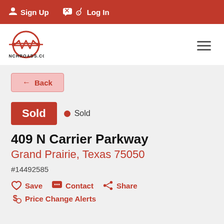Sign Up  Log In
[Figure (logo): RanchRoads.com logo - circle with stylized barbed wire and lightning bolt, red on white, text RANCHROADS.COM below]
← Back
Sold  • Sold
409 N Carrier Parkway
Grand Prairie, Texas 75050
#14492585
♡ Save  ✉ Contact  ⬡ Share
$ Price Change Alerts